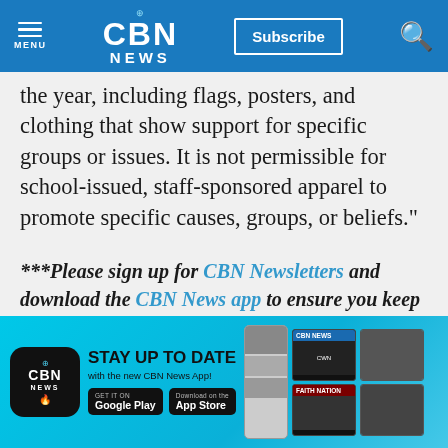CBN NEWS
the year, including flags, posters, and clothing that show support for specific groups or issues. It is not permissible for school-issued, staff-sponsored apparel to promote specific causes, groups, or beliefs."
***Please sign up for CBN Newsletters and download the CBN News app to ensure you keep receiving the latest news from a distinctly Christian perspective.***
[Figure (infographic): CBN News app advertisement banner: 'STAY UP TO DATE with the new CBN News App!' with Google Play and App Store buttons and app screenshots]